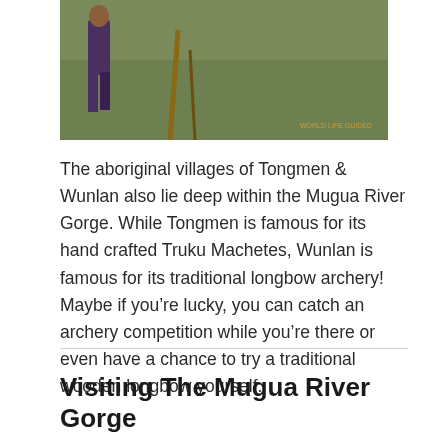[Figure (photo): Outdoor photo showing a person standing on grass with wooden sticks or arrows, a watermark visible in the lower right corner]
The aboriginal villages of Tongmen & Wunlan also lie deep within the Mugua River Gorge. While Tongmen is famous for its hand crafted Truku Machetes, Wunlan is famous for its traditional longbow archery! Maybe if you're lucky, you can catch an archery competition while you're there or even have a chance to try a traditional wooden longbow yourself.
Visiting The Mugua River Gorge